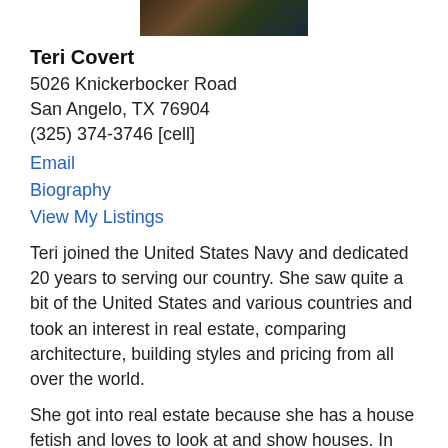[Figure (photo): Partial photo of Teri Covert at the top of the page]
Teri Covert
5026 Knickerbocker Road
San Angelo, TX 76904
(325) 374-3746 [cell]
Email
Biography
View My Listings
Teri joined the United States Navy and dedicated 20 years to serving our country. She saw quite a bit of the United States and various countries and took an interest in real estate, comparing architecture, building styles and pricing from all over the world.
She got into real estate because she has a house fetish and loves to look at and show houses. In order to keep her from buying